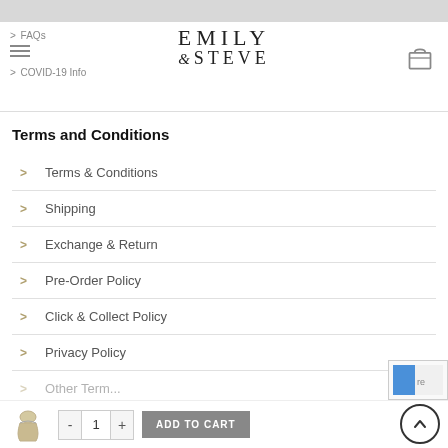[Figure (logo): Emily & Steve brand logo in serif font]
Terms and Conditions
Terms & Conditions
Shipping
Exchange & Return
Pre-Order Policy
Click & Collect Policy
Privacy Policy
Other Term...